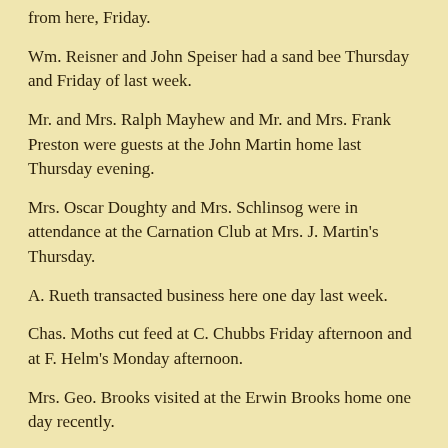from here, Friday.
Wm. Reisner and John Speiser had a sand bee Thursday and Friday of last week.
Mr. and Mrs. Ralph Mayhew and Mr. and Mrs. Frank Preston were guests at the John Martin home last Thursday evening.
Mrs. Oscar Doughty and Mrs. Schlinsog were in attendance at the Carnation Club at Mrs. J. Martin's Thursday.
A. Rueth transacted business here one day last week.
Chas. Moths cut feed at C. Chubbs Friday afternoon and at F. Helm's Monday afternoon.
Mrs. Geo. Brooks visited at the Erwin Brooks home one day recently.
J. Harriman was over from Chili one day last week on business.